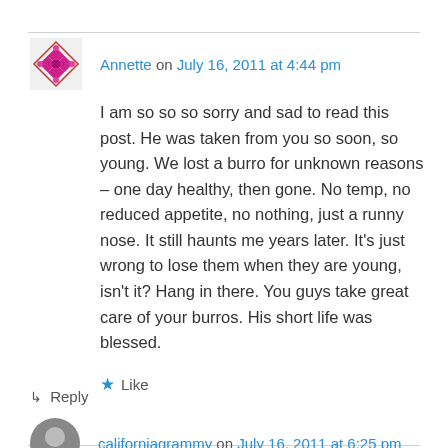Annette on July 16, 2011 at 4:44 pm
I am so so so sorry and sad to read this post. He was taken from you so soon, so young. We lost a burro for unknown reasons – one day healthy, then gone. No temp, no reduced appetite, no nothing, just a runny nose. It still haunts me years later. It's just wrong to lose them when they are young, isn't it? Hang in there. You guys take great care of your burros. His short life was blessed.
Like
Reply
californiagrammy on July 16, 2011 at 6:25 pm